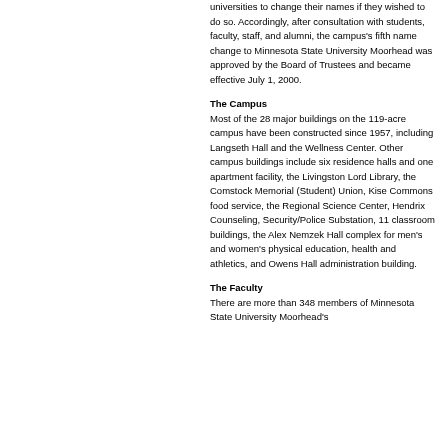universities to change their names if they wished to do so. Accordingly, after consultation with students, faculty, staff, and alumni, the campus's fifth name change to Minnesota State University Moorhead was approved by the Board of Trustees and became effective July 1, 2000.
The Campus
Most of the 28 major buildings on the 119-acre campus have been constructed since 1957, including Langseth Hall and the Wellness Center. Other campus buildings include six residence halls and one apartment facility, the Livingston Lord Library, the Comstock Memorial (Student) Union, Kise Commons food service, the Regional Science Center, Hendrix Counseling, Security/Police Substation, 11 classroom buildings, the Alex Nemzek Hall complex for men's and women's physical education, health and athletics, and Owens Hall administration building.
The Faculty
There are more than 348 members of Minnesota State University Moorhead's